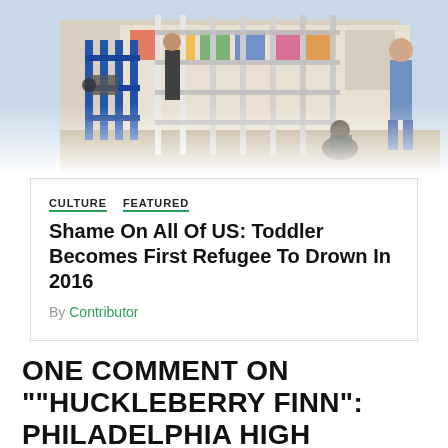[Figure (photo): Photo of refugees behind metal fence/gate barriers, person sitting on ground in foreground, others standing behind gates.]
CULTURE   FEATURED
Shame On All Of US: Toddler Becomes First Refugee To Drown In 2016
By Contributor
ONE COMMENT ON ""HUCKLEBERRY FINN": PHILADELPHIA HIGH SCHOOL STRIKES CLASSIC OVER N-WORD USE"